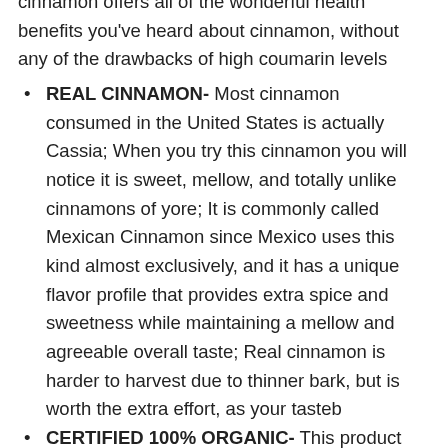cinnamon offers all of the wonderful health benefits you've heard about cinnamon, without any of the drawbacks of high coumarin levels
REAL CINNAMON- Most cinnamon consumed in the United States is actually Cassia; When you try this cinnamon you will notice it is sweet, mellow, and totally unlike cinnamons of yore; It is commonly called Mexican Cinnamon since Mexico uses this kind almost exclusively, and it has a unique flavor profile that provides extra spice and sweetness while maintaining a mellow and agreeable overall taste; Real cinnamon is harder to harvest due to thinner bark, but is worth the extra effort, as your tasteb
CERTIFIED 100% ORGANIC- This product has been certified organic by the Department of Agriculture; This is especially important in cinnamon as many producers use methods such as sulphur washes to cleanse the bark of impurities; Committing to non-GMO, non-chemically altered cinnamon is time consuming and costly, but we think it's worth it; This